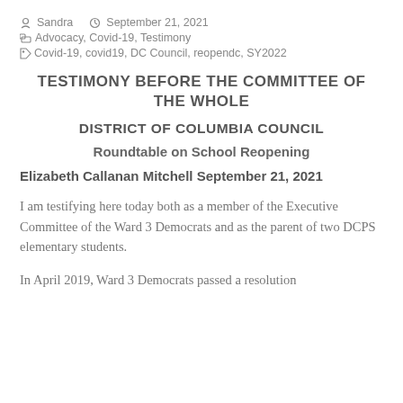Sandra  September 21, 2021
Advocacy, Covid-19, Testimony
Covid-19, covid19, DC Council, reopendc, SY2022
TESTIMONY BEFORE THE COMMITTEE OF THE WHOLE
DISTRICT OF COLUMBIA COUNCIL
Roundtable on School Reopening
Elizabeth Callanan Mitchell September 21, 2021
I am testifying here today both as a member of the Executive Committee of the Ward 3 Democrats and as the parent of two DCPS elementary students.
In April 2019, Ward 3 Democrats passed a resolution